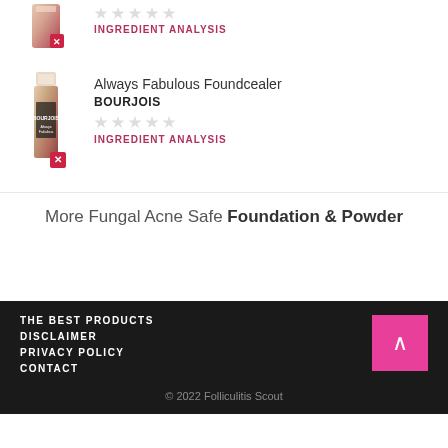[Figure (photo): Product image with red X badge - small cosmetic product, partially shown at top]
INGREDIENT ANALYSIS
[Figure (photo): Always Fabulous Foundcealer by BOURJOIS - tall slim cosmetic product bottle with red X badge]
Always Fabulous Foundcealer
BOURJOIS
INGREDIENT ANALYSIS
More Fungal Acne Safe Foundation & Powder
THE BEST PRODUCTS
DISCLAIMER
PRIVACY POLICY
CONTACT
© 2022 Folliculitis Scout